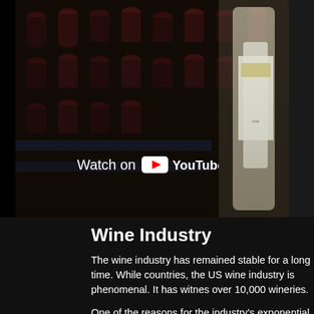[Figure (photo): Screenshot of a YouTube video thumbnail showing wine bottles in a production/storage setting, with a 'Watch on YouTube' overlay button visible at the bottom of the video player.]
Wine Industry
The wine industry has remained stable for a long time. While countries, the US wine industry is phenomenal. It has witnessed over 10,000 wineries.
One of the reasons for the industry's exponential growth is th with. The drink also remains relevant in religion, among othe
Another industry currently enjoying large growth is the onlin growth the industry has thus far had, and this year is expected constantly evolving, it may be that there will soon be more v grapes.
The change continue as of the beginning of time. To find a...